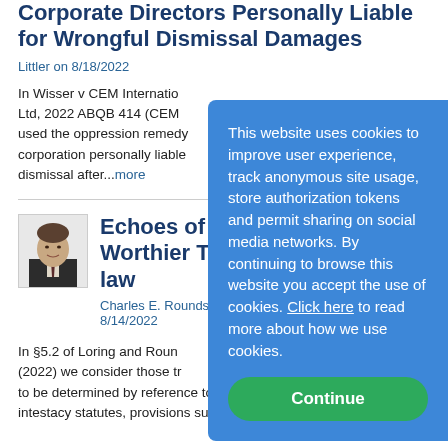Oppression Remedy to Hold Corporate Directors Personally Liable for Wrongful Dismissal Damages
Littler on 8/18/2022
In Wisser v CEM International Ltd, 2022 ABQB 414 (CEM), used the oppression remedy corporation personally liable dismissal after...more
Echoes of the D Worthier Title in law
Charles E. Rounds, Jr. - Suff 8/14/2022
In §5.2 of Loring and Round (2022) we consider those tru to be determined by reference to formulas set forth in intestacy statutes, provisions such as "upon the death of
[Figure (photo): Headshot photo of a man in suit and tie]
This website uses cookies to improve user experience, track anonymous site usage, store authorization tokens and permit sharing on social media networks. By continuing to browse this website you accept the use of cookies. Click here to read more about how we use cookies.